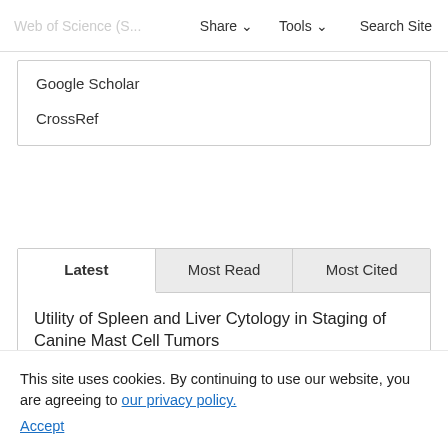Web of Science (S... | Share | Tools | Search Site
Google Scholar
CrossRef
Latest | Most Read | Most Cited
Utility of Spleen and Liver Cytology in Staging of Canine Mast Cell Tumors
Megan Brown, DVM, MS, DACVIM (Oncology), Jessica Hokamp, DVM, PhD, DACVP, Laura E. Selmic, BVM, MPH, DACVS (Small Animal), DECVS, Rachel Kovac, DVM, MS, DACVIM (Oncology)
Complete Blood Counts and Blood Smear Analyses in 312 Diabetic Dogs (2007–2017)
Tanner S. Read, DVM, Andrew S. Woolcock, DVM,...
This site uses cookies. By continuing to use our website, you are agreeing to our privacy policy. Accept